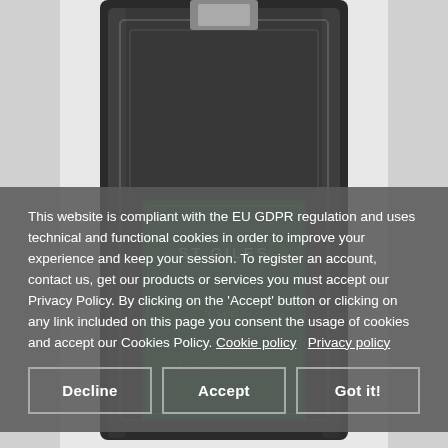[Figure (photo): A dark glass perfume bottle with a green label reading '· ST GILES ·' and text 'THE' and 'Eau de Parfum' partially visible, photographed against a white background. The bottle is rectangular with a silver cap.]
This website is compliant with the EU GDPR regulation and uses technical and functional cookies in order to improve your experience and keep your session. To register an account, contact us, get our products or services you must accept our Privacy Policy. By clicking on the 'Accept' button or clicking on any link included on this page you consent the usage of cookies and accept our Cookies Policy. Cookie policy   Privacy policy
Decline
Accept
Got it!